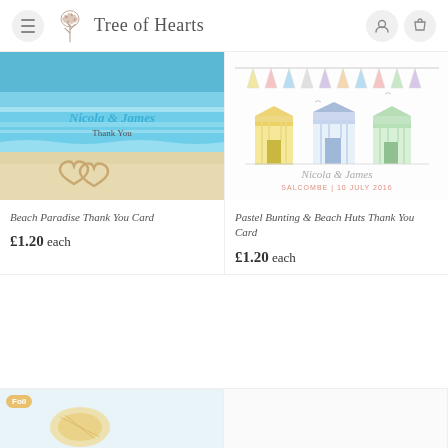Tree of Hearts
[Figure (photo): Beach Paradise Thank You Card product image showing two hearts drawn in sand on a beach with turquoise water, overlaid with 'Nicola & James Thank You' text]
Beach Paradise Thank You Card
£1.20 each
[Figure (illustration): Pastel Bunting & Beach Huts Thank You Card product image showing illustrated beach huts in pastel colors with bunting above and 'Nicola & James SALCOMBE | 10 JULY 2016' text]
Pastel Bunting & Beach Huts Thank You Card
£1.20 each
[Figure (photo): Partial view of another card product at bottom left, with a Foil badge]
[Figure (photo): Partial view of another card product at bottom right]